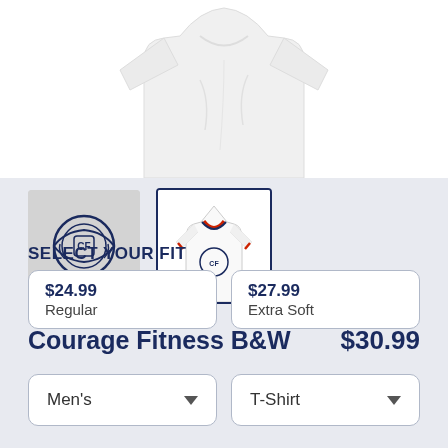[Figure (photo): Product image of a white t-shirt (Courage Fitness B&W) shown partially at top of page]
[Figure (photo): Thumbnail 1: Logo design (black and white crest/emblem) on light grey background]
[Figure (photo): Thumbnail 2 (selected, outlined): White ringer t-shirt with red/navy trim showing Courage Fitness logo, selected thumbnail]
Courage Fitness B&W    $30.99
Men's   T-Shirt (dropdown selectors)
SELECT YOUR FIT
$24.99
Regular
$27.99
Extra Soft